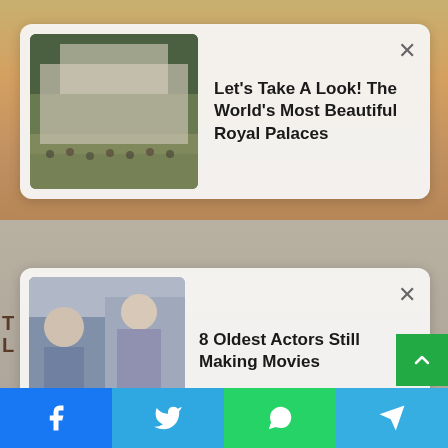[Figure (screenshot): Background image of a royal palace with crowds, golden statue visible]
[Figure (infographic): Ad card 1: Let's Take A Look! The World's Most Beautiful Royal Palaces with thumbnail of palace aerial view and crowd]
Let's Take A Look! The World's Most Beautiful Royal Palaces
[Figure (infographic): Ad card 2: 8 Oldest Actors Still Making Movies with thumbnail of two women]
8 Oldest Actors Still Making Movies
[Figure (photo): Photo of a person sleeping or lying down, brownish-red hair visible, soft blurred background]
[Figure (infographic): Social sharing bar at bottom with Facebook, Twitter, WhatsApp, and Telegram icons]